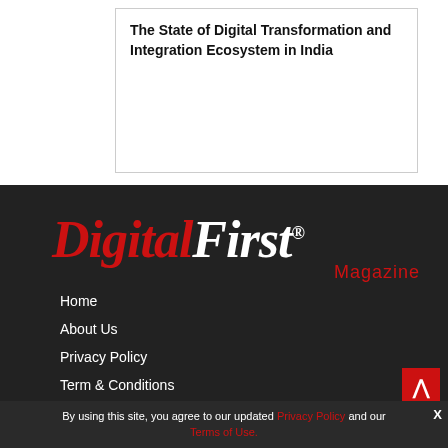The State of Digital Transformation and Integration Ecosystem in India
[Figure (logo): Digital First Magazine logo — 'Digital' in red italic serif, 'First' in white italic serif, 'Magazine' in red below, registered trademark symbol]
Home
About Us
Privacy Policy
Term & Conditions
By using this site, you agree to our updated Privacy Policy and our Terms of Use.